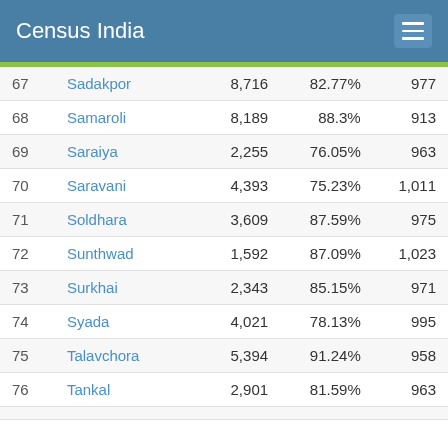Census India
| # | Name | Population | Literacy | Sex Ratio |
| --- | --- | --- | --- | --- |
| 67 | Sadakpor | 8,716 | 82.77% | 977 |
| 68 | Samaroli | 8,189 | 88.3% | 913 |
| 69 | Saraiya | 2,255 | 76.05% | 963 |
| 70 | Saravani | 4,393 | 75.23% | 1,011 |
| 71 | Soldhara | 3,609 | 87.59% | 975 |
| 72 | Sunthwad | 1,592 | 87.09% | 1,023 |
| 73 | Surkhai | 2,343 | 85.15% | 971 |
| 74 | Syada | 4,021 | 78.13% | 995 |
| 75 | Talavchora | 5,394 | 91.24% | 958 |
| 76 | Tankal | 2,901 | 81.59% | 963 |